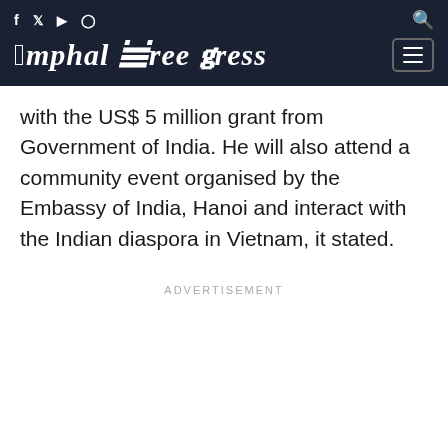Imphal Free Press
with the US$ 5 million grant from Government of India. He will also attend a community event organised by the Embassy of India, Hanoi and interact with the Indian diaspora in Vietnam, it stated.
ADVERTISEMENT